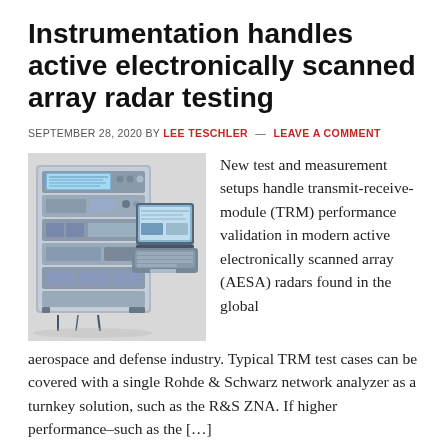Instrumentation handles active electronically scanned array radar testing
SEPTEMBER 28, 2020 BY LEE TESCHLER — LEAVE A COMMENT
[Figure (photo): Photo of Rohde & Schwarz test instrumentation rack with laptop computer on the right side]
New test and measurement setups handle transmit-receive-module (TRM) performance validation in modern active electronically scanned array (AESA) radars found in the global aerospace and defense industry. Typical TRM test cases can be covered with a single Rohde & Schwarz network analyzer as a turnkey solution, such as the R&S ZNA. If higher performance–such as the […]